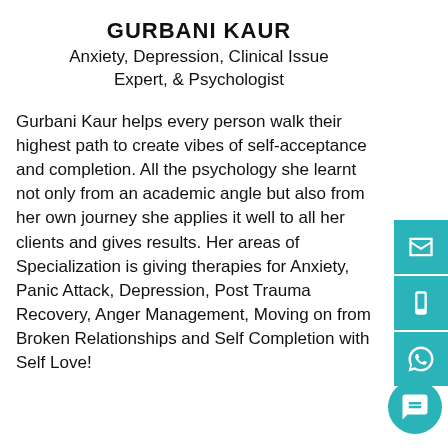GURBANI KAUR
Anxiety, Depression, Clinical Issue Expert, & Psychologist
Gurbani Kaur helps every person walk their highest path to create vibes of self-acceptance and completion. All the psychology she learnt not only from an academic angle but also from her own journey she applies it well to all her clients and gives results. Her areas of Specialization is giving therapies for Anxiety, Panic Attack, Depression, Post Trauma Recovery, Anger Management, Moving on from Broken Relationships and Self Completion with Self Love!